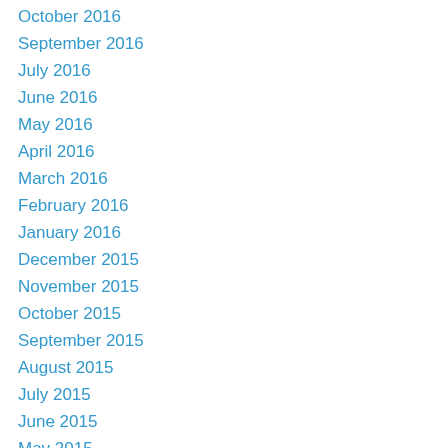October 2016
September 2016
July 2016
June 2016
May 2016
April 2016
March 2016
February 2016
January 2016
December 2015
November 2015
October 2015
September 2015
August 2015
July 2015
June 2015
May 2015
April 2015
March 2015
February 2015